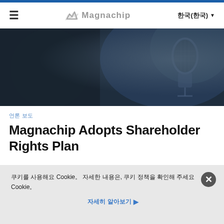Magnachip
[Figure (photo): Dark blurred background image of a microphone in blue/dark tones, used as a hero banner image]
언론 보도
Magnachip Adopts Shareholder Rights Plan
쿠키를 사용해요 Cookie。 자세한 내용은, 쿠키 정책을 확인해 주세요 Cookie。
자세히 알아보기